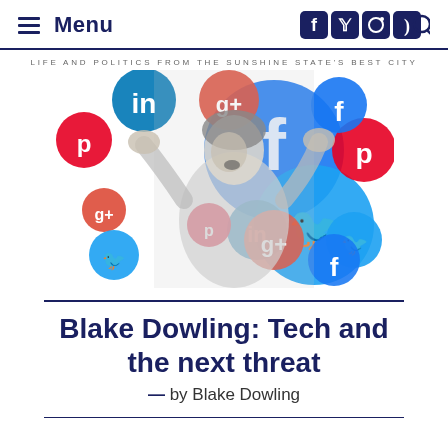Menu
LIFE AND POLITICS FROM THE SUNSHINE STATE'S BEST CITY
[Figure (photo): Woman with hands raised in alarm, surrounded by colorful social media icons including Facebook, Twitter, LinkedIn, Google+, and Pinterest on red and blue circles]
Blake Dowling: Tech and the next threat
— by Blake Dowling